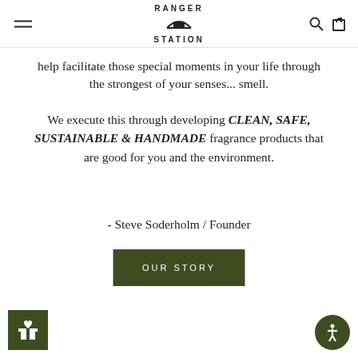RANGER STATION
help facilitate those special moments in your life through the strongest of your senses... smell.
We execute this through developing CLEAN, SAFE, SUSTAINABLE & HANDMADE fragrance products that are good for you and the environment.
- Steve Soderholm / Founder
OUR STORY
[Figure (other): Dark olive green gift/rewards widget icon in bottom left corner]
[Figure (other): Accessibility button (circular, dark olive green) in bottom right corner]